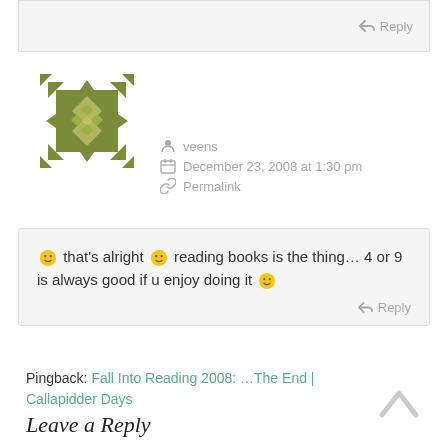[Figure (other): Reply button with arrow icon at top of comment section]
[Figure (logo): Square decorative avatar/icon with olive green geometric pattern]
veens
December 23, 2008 at 1:30 pm
Permalink
that's alright reading books is the thing... 4 or 9 is always good if u enjoy doing it
Reply
Pingback: Fall Into Reading 2008: ...The End | Callapidder Days
Leave a Reply